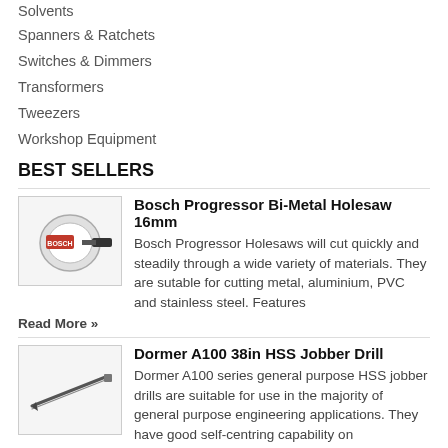Solvents
Spanners & Ratchets
Switches & Dimmers
Transformers
Tweezers
Workshop Equipment
BEST SELLERS
[Figure (photo): Bosch Progressor Bi-Metal Holesaw product photo showing circular holesaw with black drill bit attachment]
Bosch Progressor Bi-Metal Holesaw 16mm
Bosch Progressor Holesaws will cut quickly and steadily through a wide variety of materials. They are sutable for cutting metal, aluminium, PVC and stainless steel. Features Read More »
[Figure (photo): Dormer A100 38in HSS Jobber Drill product photo showing a long silver drill bit]
Dormer A100 38in HSS Jobber Drill
Dormer A100 series general purpose HSS jobber drills are suitable for use in the majority of general purpose engineering applications. They have good self-centring capability on Read More »